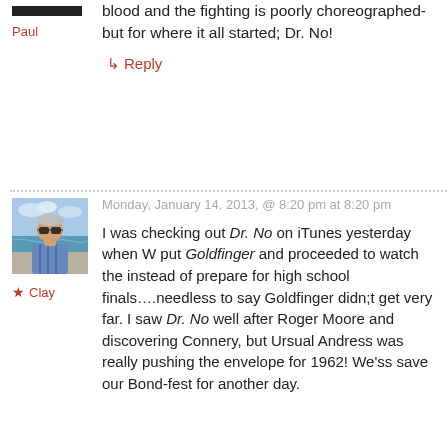blood and the fighting is poorly choreographed- but for where it all started; Dr. No!
Paul
↳ Reply
Monday, January 14, 2013, @ 8:20 pm at 8:20 pm
[Figure (photo): Profile photo of Clay, a man with grey hair and sunglasses at a beach]
★ Clay
I was checking out Dr. No on iTunes yesterday when W put Goldfinger and proceeded to watch the instead of prepare for high school finals….needless to say Goldfinger didn;t get very far. I saw Dr. No well after Roger Moore and discovering Connery, but Ursual Andress was really pushing the envelope for 1962! We'ss save our Bond-fest for another day.